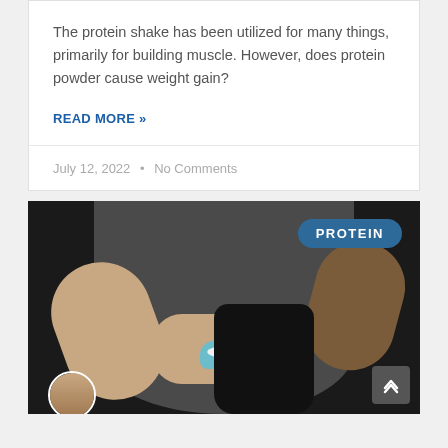The protein shake has been utilized for many things, primarily for building muscle. However, does protein powder cause weight gain?
READ MORE »
July 12, 2022 • No Comments
[Figure (photo): Person in dark grey t-shirt holding a blue measuring scoop filled with white protein powder over a black protein supplement jar. A teal 'PROTEIN' badge appears in the upper right of the image. A small circular avatar of a person appears in the lower left.]